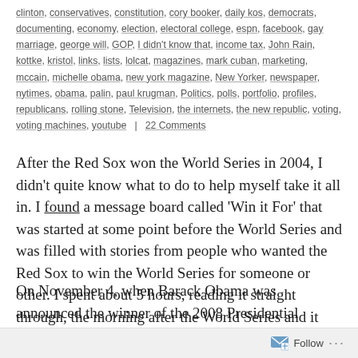clinton, conservatives, constitution, cory booker, daily kos, democrats, documenting, economy, election, electoral college, espn, facebook, gay marriage, george will, GOP, I didn't know that, income tax, John Rain, kottke, kristol, links, lists, lolcat, magazines, mark cuban, marketing, mccain, michelle obama, new york magazine, New Yorker, newspaper, nytimes, obama, palin, paul krugman, Politics, polls, portfolio, profiles, republicans, rolling stone, Television, the internets, the new republic, voting, voting machines, youtube | 22 Comments
After the Red Sox won the World Series in 2004, I didn't quite know what to do to help myself take it all in. I found a message board called 'Win it For' that was started at some point before the World Series and was filled with stories from people who wanted the Red Sox to win the World Series for someone or other. I spent about 5 hours, reading it straight through, the morning after the World Series and it was the best way I could have celebrated the Red Sox winning.
On November 4, when Barack Obama was announced the winner of the 2008 Presidential Election I was searching for a similar sort of catharsis. Not so much because of Obama
Follow